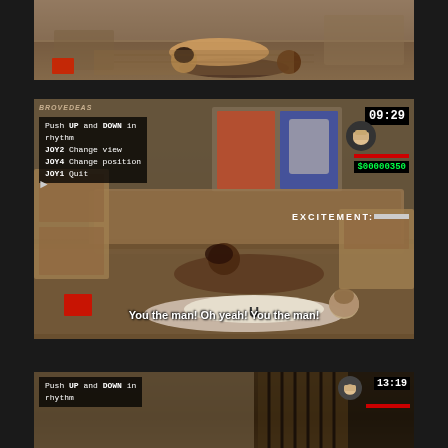[Figure (screenshot): Video game screenshot (GTA San Andreas) showing two characters on a floor, top portion of screen, bedroom setting with tan/brown tones]
[Figure (screenshot): Video game screenshot (GTA San Andreas) showing HUD with instructions: Push UP and DOWN in rhythm, JOY2 Change view, JOY4 Change position, JOY1 Quit. Timer shows 09:29, money shows $00000350, EXCITEMENT bar visible. Subtitle: You the man! Oh yeah! You the man!]
[Figure (screenshot): Video game screenshot (GTA San Andreas) partial bottom view showing Push UP and DOWN in rhythm instruction, timer shows 13:19]